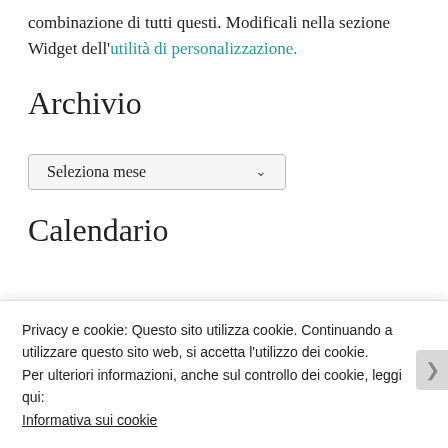combinazione di tutti questi. Modificali nella sezione Widget dell'utilità di personalizzazione.
Archivio
[Figure (screenshot): A dropdown select box labeled 'Seleziona mese' with a chevron arrow]
Calendario
Privacy e cookie: Questo sito utilizza cookie. Continuando a utilizzare questo sito web, si accetta l'utilizzo dei cookie.
Per ulteriori informazioni, anche sul controllo dei cookie, leggi qui:
Informativa sui cookie
Chiudi e accetta